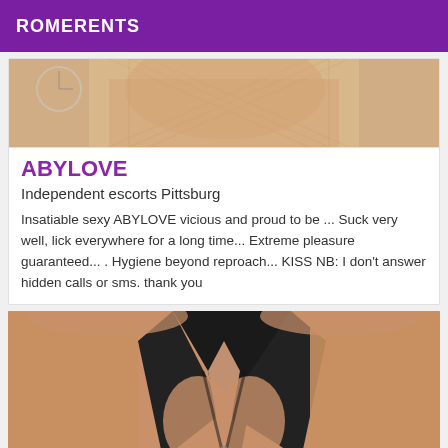ROMERENTS
[Figure (photo): Partial photo of a person in fishnet stockings, cropped to show lower body]
ABYLOVE
Independent escorts Pittsburg
Insatiable sexy ABYLOVE vicious and proud to be ... Suck very well, lick everywhere for a long time... Extreme pleasure guaranteed... . Hygiene beyond reproach... KISS NB: I don't answer hidden calls or sms. thank you
[Figure (photo): Partial photo of a person wearing a black halter-style top, cropped to show torso]